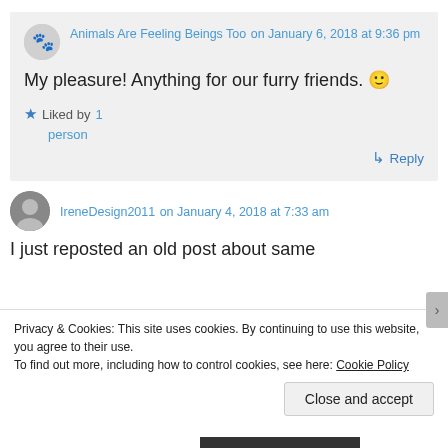Animals Are Feeling Beings Too on January 6, 2018 at 9:36 pm
My pleasure! Anything for our furry friends. 🙂
Liked by 1 person
↳ Reply
IreneDesign2011 on January 4, 2018 at 7:33 am
I just reposted an old post about same
Privacy & Cookies: This site uses cookies. By continuing to use this website, you agree to their use.
To find out more, including how to control cookies, see here: Cookie Policy
Close and accept